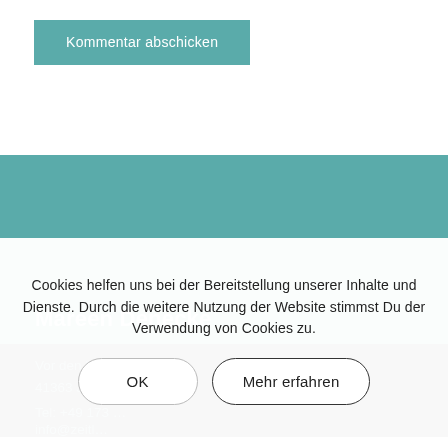Kommentar abschicken
Mareen Denecke
Vor den Höfen 5a
41363 Jüchen
Tel: +49 173 …
info@zeitl…
Ich bitte dich, für eine erste Terminvergabe…
Cookies helfen uns bei der Bereitstellung unserer Inhalte und Dienste. Durch die weitere Nutzung der Website stimmst Du der Verwendung von Cookies zu.
OK
Mehr erfahren